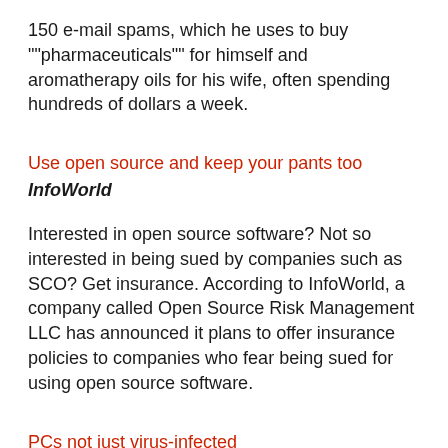150 e-mail spams, which he uses to buy ""pharmaceuticals"" for himself and aromatherapy oils for his wife, often spending hundreds of dollars a week.
Use open source and keep your pants too
InfoWorld
Interested in open source software? Not so interested in being sued by companies such as SCO? Get insurance. According to InfoWorld, a company called Open Source Risk Management LLC has announced it plans to offer insurance policies to companies who fear being sued for using open source software.
PCs not just virus-infected
The Register